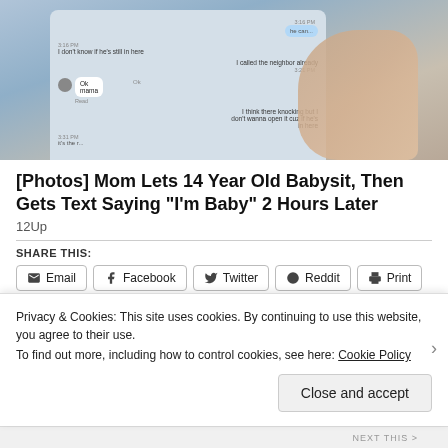[Figure (photo): A smartphone screen showing text messages being read by a woman's hand with painted fingernails. The messages include 'I don't know if he's still in here', 'I called the neighbor already', 'Ok mama', 'Read', 'I think there knocking but I don't wanna open it cuz if he's in here', 'it's the r...']
[Photos] Mom Lets 14 Year Old Babysit, Then Gets Text Saying "I'm Baby" 2 Hours Later
12Up
SHARE THIS:
Email
Facebook
Twitter
Reddit
Print
Privacy & Cookies: This site uses cookies. By continuing to use this website, you agree to their use.
To find out more, including how to control cookies, see here: Cookie Policy
Close and accept